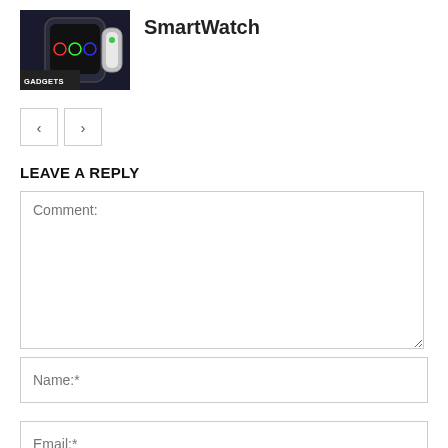SmartWatch
[Figure (photo): Thumbnail image of a smartwatch with GADGETS badge overlay]
LEAVE A REPLY
Comment:
Name:*
Email:*